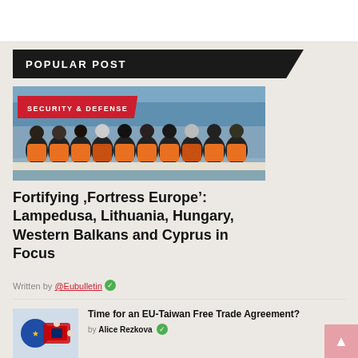POPULAR POST
[Figure (photo): People in orange life vests on a boat, seen from behind, with a large vessel in the background — refugee/migration scene]
Fortifying 'Fortress Europe': Lampedusa, Lithuania, Hungary, Western Balkans and Cyprus in Focus
Written by @Eubulletin
[Figure (photo): EU and Taiwan flags puzzle pieces]
Time for an EU-Taiwan Free Trade Agreement?
by Alice Rezkova